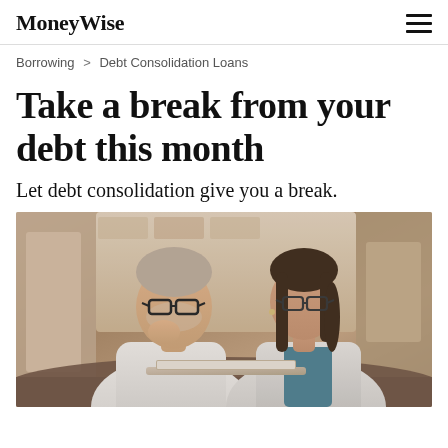MoneyWise
Borrowing > Debt Consolidation Loans
Take a break from your debt this month
Let debt consolidation give you a break.
[Figure (photo): A man and woman sitting together looking at a laptop, both wearing glasses. The man rests his chin on his hand thoughtfully. They appear to be reviewing financial information together in a home setting.]